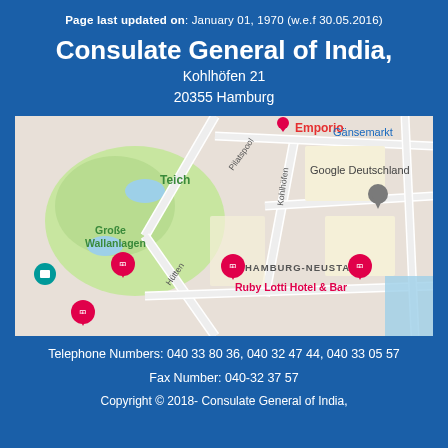Page last updated on: January 01, 1970 (w.e.f 30.05.2016)
Consulate General of India,
Kohlhöfen 21
20355 Hamburg
[Figure (map): Google Maps showing location near Kohlhöfen 21, 20355 Hamburg, Germany. Shows streets including Kohlhöfen, Pilatspool, Hütten, landmarks including Große Wallanlagen (park), Teich, Google Deutschland, Emporio, Gänsemarkt, Hamburg-Neustadt, and Ruby Lotti Hotel & Bar.]
Telephone Numbers: 040 33 80 36, 040 32 47 44, 040 33 05 57
Fax Number: 040-32 37 57
Copyright © 2018- Consulate General of India,